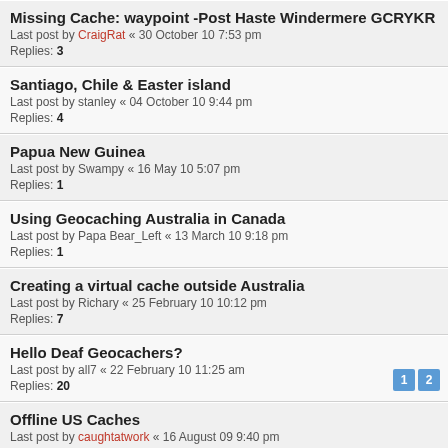Missing Cache: waypoint -Post Haste Windermere GCRYKR
Last post by CraigRat « 30 October 10 7:53 pm
Replies: 3
Santiago, Chile & Easter island
Last post by stanley « 04 October 10 9:44 pm
Replies: 4
Papua New Guinea
Last post by Swampy « 16 May 10 5:07 pm
Replies: 1
Using Geocaching Australia in Canada
Last post by Papa Bear_Left « 13 March 10 9:18 pm
Replies: 1
Creating a virtual cache outside Australia
Last post by Richary « 25 February 10 10:12 pm
Replies: 7
Hello Deaf Geocachers?
Last post by all7 « 22 February 10 11:25 am
Replies: 20
Pages: 1 2
Offline US Caches
Last post by caughtatwork « 16 August 09 9:40 pm
Replies: 6
Heading to USA (Oregon) Sun. 26th July. GC or TB's Welcome
Last post by mortified « 22 July 09 12:46 am
Anyone have any info on caches in S.Korea?
Last post by Damo. « 04 July 09 1:45 pm
Replies: 1